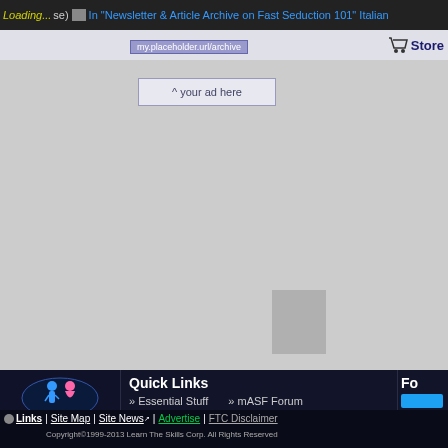Loading... se) | In "Newsletter & Article Archive on Fast Seduction 101" Italian
[Figure (other): Advertisement placeholder box with text '^ your ad here']
[Figure (other): Small grey image placeholder in main content area]
[Figure (logo): The Art of the Pickup logo with two figures]
[Figure (logo): Learn The Skills (LTS) green logo]
Quick Links
» Essential Stuff
» Testimonials
» Are You New?
» Site Map
» mASF Forum
» Player Guide Board
» Cities Board
» Live Chat
[Figure (screenshot): Social media buttons: Twitter, Facebook-like, YouTube]
Fo
Links | Site Map | Site News | Advertise | FTC Disclaimer
Copyright©1999-2013 Learn The Skills Corp. All Rights Reserved